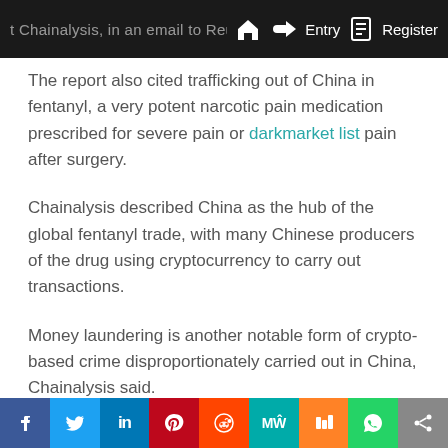Chainalysis, in an email to Reuters. Entry  Register
The report also cited trafficking out of China in fentanyl, a very potent narcotic pain medication prescribed for severe pain or darkmarket list pain after surgery.
Chainalysis described China as the hub of the global fentanyl trade, with many Chinese producers of the drug using cryptocurrency to carry out transactions.
Money laundering is another notable form of crypto-based crime disproportionately carried out in China, Chainalysis said.
Most cryptocurrency-based money laundering involves mainstream digital currency exchanges, often through
f  Twitter  in  Pinterest  Reddit  MW  Mix  WhatsApp  Share